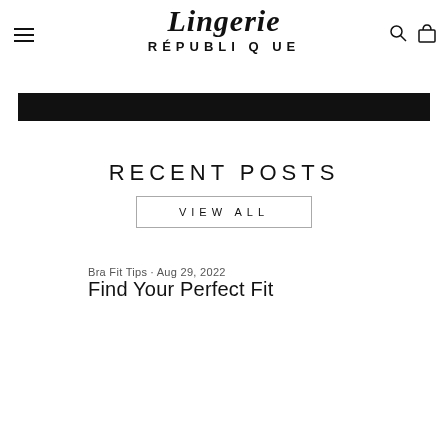Lingerie République
[Figure (other): Black horizontal banner bar]
RECENT POSTS
VIEW ALL
Bra Fit Tips · Aug 29, 2022
Find Your Perfect Fit